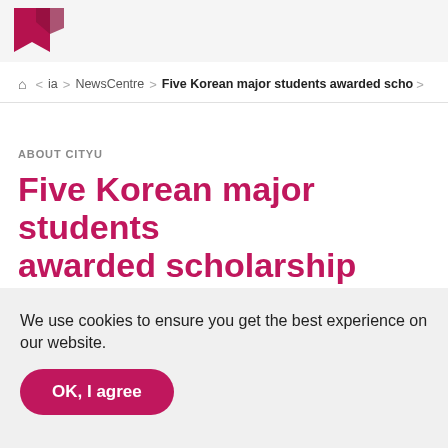[Figure (logo): CityU logo fragment — partial maroon bookmark/flag shape visible at top left]
Home > ...ia > NewsCentre > Five Korean major students awarded scho...
ABOUT CITYU
Five Korean major students awarded scholarship
JUNE TSE
We use cookies to ensure you get the best experience on our website.
OK, I agree